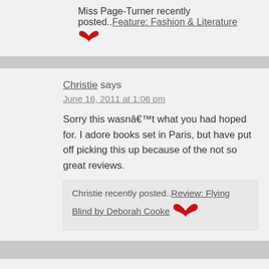Miss Page-Turner recently posted..Feature: Fashion & Literature 🦅
Christie says
June 16, 2011 at 1:06 pm
Sorry this wasnâ€™t what you had hoped for. I adore books set in Paris, but have put off picking this up because of the not so great reviews.
Christie recently posted..Review: Flying Blind by Deborah Cooke 🦅